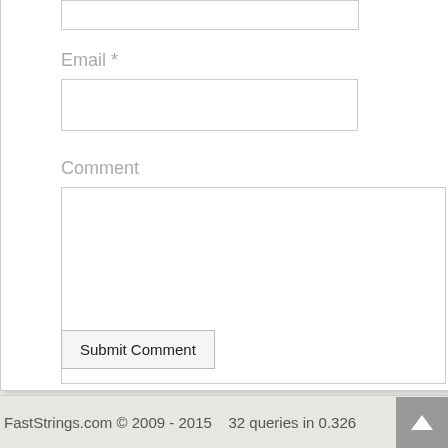Email *
Comment
Submit Comment
FastStrings.com © 2009 - 2015    32 queries in 0.326